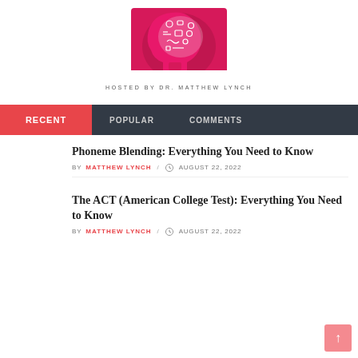[Figure (logo): Pink illustrated logo of a human head silhouette with educational icons floating out of it]
HOSTED BY DR. MATTHEW LYNCH
RECENT | POPULAR | COMMENTS
Phoneme Blending: Everything You Need to Know
BY MATTHEW LYNCH / AUGUST 22, 2022
The ACT (American College Test): Everything You Need to Know
BY MATTHEW LYNCH / AUGUST 22, 2022